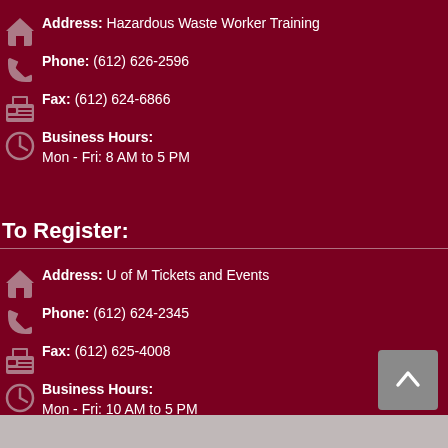Address: Hazardous Waste Worker Training
Phone: (612) 626-2596
Fax: (612) 624-6866
Business Hours: Mon - Fri: 8 AM to 5 PM
To Register:
Address: U of M Tickets and Events
Phone: (612) 624-2345
Fax: (612) 625-4008
Business Hours: Mon - Fri: 10 AM to 5 PM